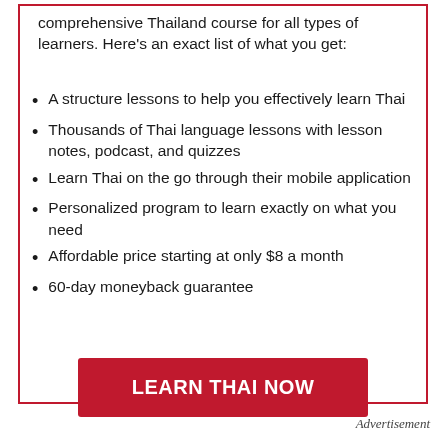comprehensive Thailand course for all types of learners. Here's an exact list of what you get:
A structure lessons to help you effectively learn Thai
Thousands of Thai language lessons with lesson notes, podcast, and quizzes
Learn Thai on the go through their mobile application
Personalized program to learn exactly on what you need
Affordable price starting at only $8 a month
60-day moneyback guarantee
LEARN THAI NOW
Advertisement